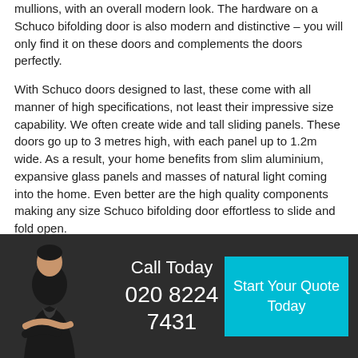mullions, with an overall modern look. The hardware on a Schuco bifolding door is also modern and distinctive – you will only find it on these doors and complements the doors perfectly.
With Schuco doors designed to last, these come with all manner of high specifications, not least their impressive size capability. We often create wide and tall sliding panels. These doors go up to 3 metres high, with each panel up to 1.2m wide. As a result, your home benefits from slim aluminium, expansive glass panels and masses of natural light coming into the home. Even better are the high quality components making any size Schuco bifolding door effortless to slide and fold open.
Call Today
020 8224
7431
Start Your Quote Today